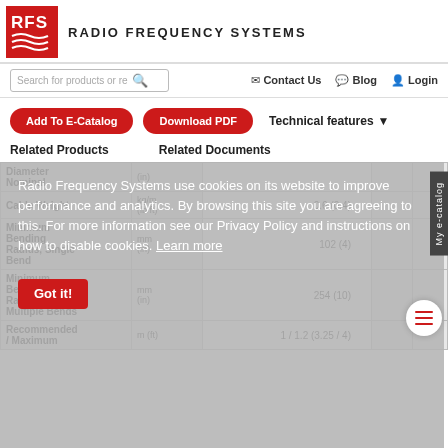[Figure (logo): RFS Radio Frequency Systems logo with red background and white wave lines]
RADIO FREQUENCY SYSTEMS
[Figure (screenshot): Search bar, Contact Us, Blog, Login navigation links]
[Figure (screenshot): Add To E-Catalog and Download PDF buttons, Technical features dropdown]
Related Products   Related Documents
|  |  |  |
| --- | --- | --- |
| Diameter Nominal | (in) |  |
| Cable Weight | kg/m (lb/ft) | 0.6 (0.4) |
| Minimum Bending Radius, Single Bend | mm (in) | 102 (4) |
| Minimum Bending Radius, Multiple Bends | mm (in) | 254 (10) |
| Recommended / Maximum | m (ft) | 1 / 1.2 (3.25 / 4) |
Radio Frequency Systems use cookies on its website to improve performance and analytics. By browsing this site you are agreeing to this. For more information see our Privacy Policy and instructions on how to disable cookies. Learn more